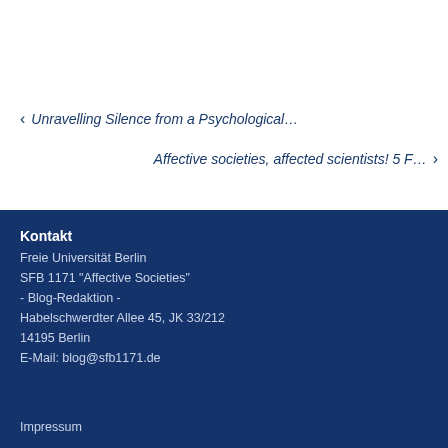← Unravelling Silence from a Psychological…
Affective societies, affected scientists! 5 F… →
Kontakt
Freie Universität Berlin
SFB 1171 "Affective Societies"
- Blog-Redaktion -
Habelschwerdter Allee 45, JK 33/212
14195 Berlin
E-Mail: blog@sfb1171.de
Impressum